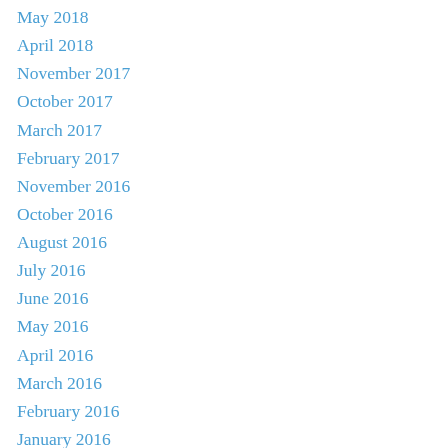May 2018
April 2018
November 2017
October 2017
March 2017
February 2017
November 2016
October 2016
August 2016
July 2016
June 2016
May 2016
April 2016
March 2016
February 2016
January 2016
December 2015
November 2015
October 2015
September 2015